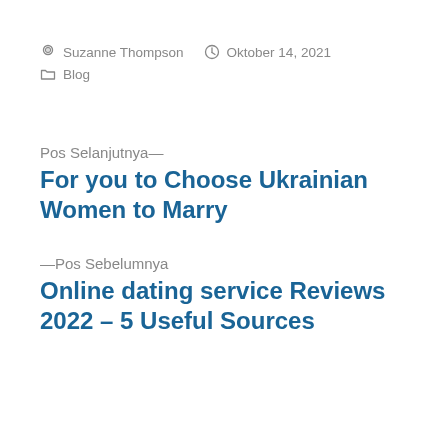Suzanne Thompson   Oktober 14, 2021   Blog
Pos Selanjutnya—
For you to Choose Ukrainian Women to Marry
—Pos Sebelumnya
Online dating service Reviews 2022 – 5 Useful Sources